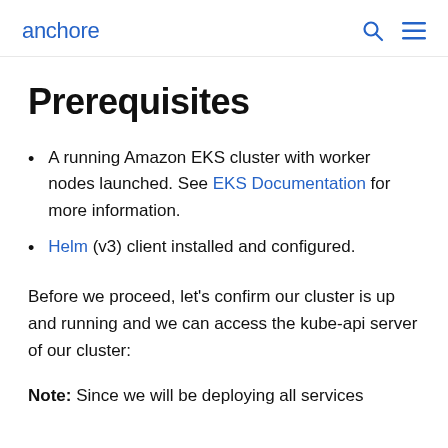anchore
Prerequisites
A running Amazon EKS cluster with worker nodes launched. See EKS Documentation for more information.
Helm (v3) client installed and configured.
Before we proceed, let’s confirm our cluster is up and running and we can access the kube-api server of our cluster:
Note: Since we will be deploying all services